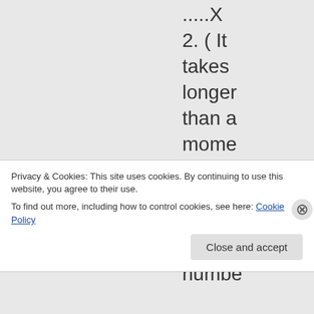.....X 2. ( It takes longer than a moment to type all those numbe
Privacy & Cookies: This site uses cookies. By continuing to use this website, you agree to their use. To find out more, including how to control cookies, see here: Cookie Policy
Close and accept